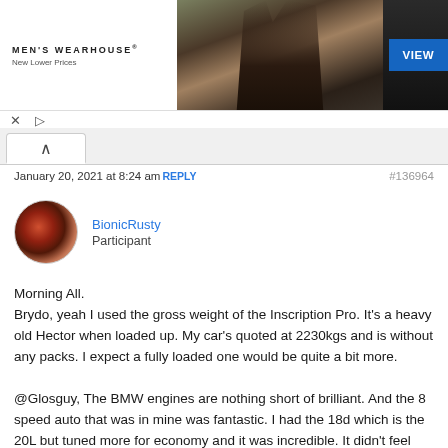[Figure (photo): Men's Wearhouse advertisement banner showing a couple in formal wear and a man in tuxedo with a blue VIEW button]
January 20, 2021 at 8:24 am REPLY #136964
BionicRusty
Participant
Morning All.
Brydo, yeah I used the gross weight of the Inscription Pro. It's a heavy old Hector when loaded up. My car's quoted at 2230kgs and is without any packs. I expect a fully loaded one would be quite a bit more.

@Glosguy, The BMW engines are nothing short of brilliant. And the 8 speed auto that was in mine was fantastic. I had the 18d which is the 20L but tuned more for economy and it was incredible. It didn't feel underpowered at all and was so economical.